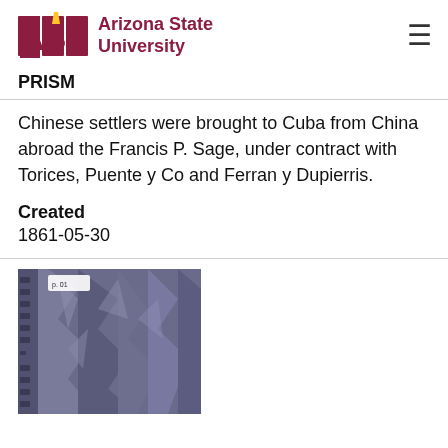[Figure (logo): Arizona State University logo with ASU letters in maroon/gold and 'Arizona State University' text in maroon]
PRISM
Chinese settlers were brought to Cuba from China abroad the Francis P. Sage, under contract with Torices, Puente y Co and Ferran y Dupierris.
Created
1861-05-30
[Figure (photo): Scanned document page showing a crumpled or aged dark purple/blue paper or fabric with hole punches along the left edge and a small label in the upper left corner]